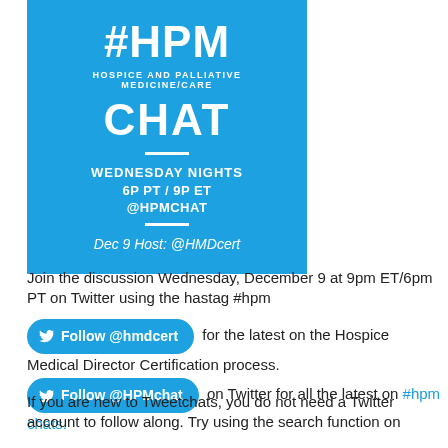[Figure (infographic): Blue square promotional graphic for #HPM (Hospice and Palliative Medicine/Care) Chat. White text on blue background showing: #HPM, HOSPICE AND PALLIATIVE MEDICINE/CARE, CHAT, WEDNESDAY NIGHTS, 6P PT / 9P ET, @HPMCHAT, Dec 9 Host: @HMDcert]
Join the discussion Wednesday, December 9 at 9pm ET/6pm PT on Twitter using the hastag #hpm
Follow @hmdcert for the latest on the Hospice Medical Director Certification process.
Follow @HPMchat on Twitter for all the latest on #hpm chats.
If you are new to Tweetchats, you do not need a Twitter account to follow along. Try using the search function on